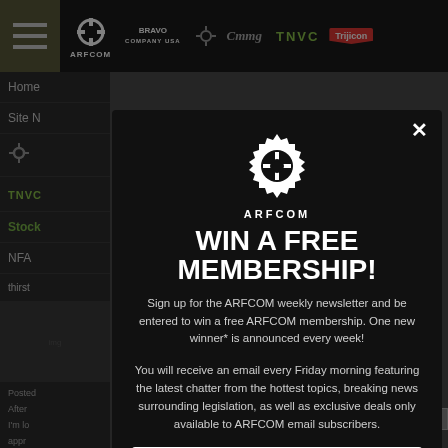[Figure (screenshot): ARFCOM website screenshot background showing navigation bar with logos (ARFCOM, Bravo Company USA, CMMG, TNVC, Trijicon), left sidebar with Home, Site N, settings icon, TNVC logo, Stock, NFA menu items, and partial page content]
[Figure (logo): ARFCOM gear/crosshair logo in white on dark background at top of modal]
WIN A FREE MEMBERSHIP!
Sign up for the ARFCOM weekly newsletter and be entered to win a free ARFCOM membership. One new winner* is announced every week!
You will receive an email every Friday morning featuring the latest chatter from the hottest topics, breaking news surrounding legislation, as well as exclusive deals only available to ARFCOM email subscribers.